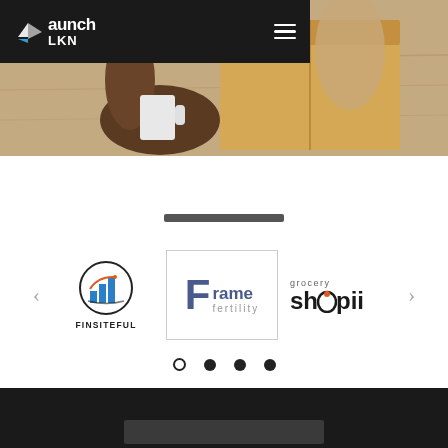[Figure (screenshot): LaunchLKN website screenshot showing header with logo and hamburger menu, hero image of person assembling cardboard box at wooden table, logo carousel with Finsiteful, Frame Fertility, and Grocery Shopii logos, carousel navigation dots, and bottom dark section]
Launch LKN
[Figure (photo): Close-up photo of hands assembling or opening a cardboard box on a wooden table]
[Figure (logo): FINSITEFUL logo - circular icon with bar chart and text FINSITEFUL below]
[Figure (logo): Frame Fertility logo - large F with 'rame' and 'fertility' text, bordered card]
[Figure (logo): grocery shopii logo - word 'grocery' small above, 'shopii' large with orange dot in the o]